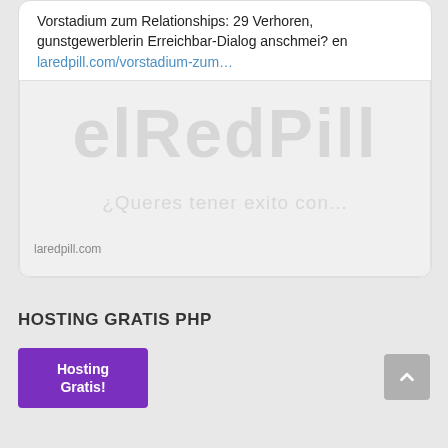Vorstadium zum Relationships: 29 Verhoren, gunstgewerblerin Erreichbar-Dialog anschmei? en laredpill.com/vorstadium-zum…
[Figure (screenshot): Preview card showing laredpill.com logo/watermark text in light gray on gray background with domain label at bottom]
HOSTING GRATIS PHP
[Figure (other): Purple button labeled 'Hosting Gratis!']
[Figure (other): Gray scroll-to-top button with upward chevron arrow]